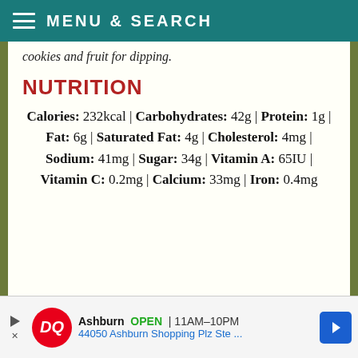MENU & SEARCH
cookies and fruit for dipping.
NUTRITION
Calories: 232kcal | Carbohydrates: 42g | Protein: 1g | Fat: 6g | Saturated Fat: 4g | Cholesterol: 4mg | Sodium: 41mg | Sugar: 34g | Vitamin A: 65IU | Vitamin C: 0.2mg | Calcium: 33mg | Iron: 0.4mg
[Figure (other): Dairy Queen advertisement banner: Ashburn OPEN 11AM-10PM, 44050 Ashburn Shopping Plz Ste...]